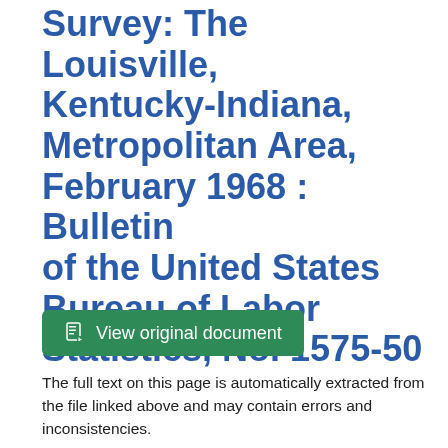Survey: The Louisville, Kentucky-Indiana, Metropolitan Area, February 1968 : Bulletin of the United States Bureau of Labor Statistics, No. 1575-50
[Figure (other): Green button labeled 'View original document' with a document icon]
The full text on this page is automatically extracted from the file linked above and may contain errors and inconsistencies.
The Louisville, Kentucky–Indiana, Metropolitan Area...